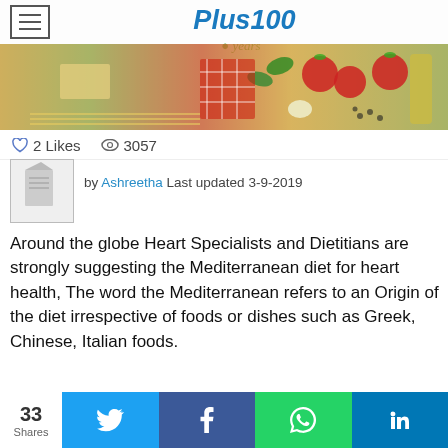Plus100 years
[Figure (photo): Hero banner with Mediterranean food ingredients including tomatoes, basil, pasta, olive oil, and garlic on a wooden surface]
♡ 2 Likes  👁 3057
[Figure (photo): Author thumbnail/avatar placeholder image]
by Ashreetha Last updated 3-9-2019
Around the globe Heart Specialists and Dietitians are strongly suggesting the Mediterranean diet for heart health, The word the Mediterranean refers to an Origin of the diet irrespective of foods or dishes such as Greek, Chinese, Italian foods.
What is the Mediterranean diet?
33 Shares
Twitter Facebook WhatsApp LinkedIn